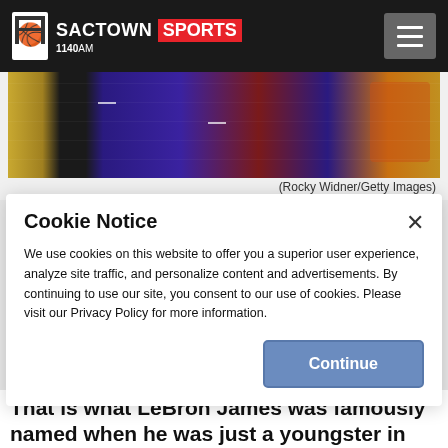SACTOWN SPORTS 1140AM
[Figure (photo): Basketball court photo showing purple and red basketball-related imagery, partially cropped at top]
(Rocky Widner/Getty Images)
Cookie Notice

We use cookies on this website to offer you a superior user experience, analyze site traffic, and personalize content and advertisements. By continuing to use our site, you consent to our use of cookies. Please visit our Privacy Policy for more information.
That is what LeBron James was famously named when he was just a youngster in high-